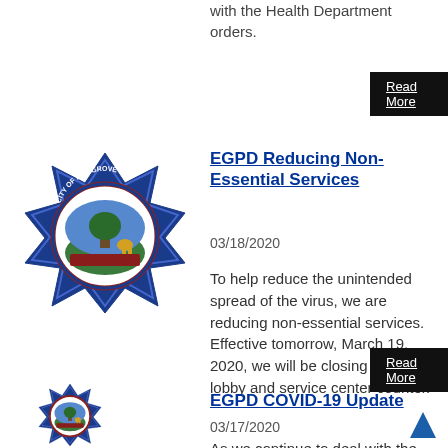with the Health Department orders.
Read More
[Figure (logo): City of Elk Grove California Police Department badge — blue star-shaped badge with city seal]
EGPD Reducing Non-Essential Services
03/18/2020
To help reduce the unintended spread of the virus, we are reducing non-essential services. Effective tomorrow, March 19, 2020, we will be closing our front lobby and service center counter.
Read More
[Figure (logo): City of Elk Grove California Police Department badge — blue star-shaped badge with city seal (partially visible)]
EGPD COVID-19 Update
03/17/2020
As we continue to deal with the